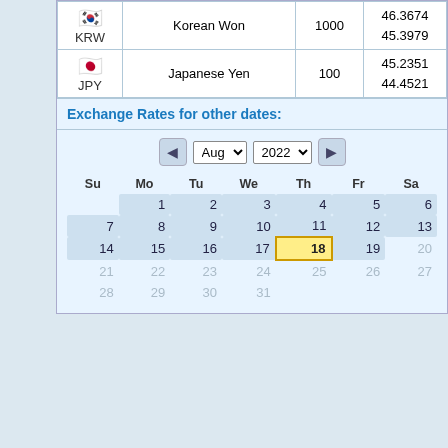|  | Currency | Amount | Rate |
| --- | --- | --- | --- |
| KRW (Korean Won flag) | Korean Won | 1000 | 46.3674
45.3979 |
| JPY (Japanese Yen flag) | Japanese Yen | 100 | 45.2351
44.4521 |
Exchange Rates for other dates:
[Figure (other): Calendar widget showing August 2022. Navigation arrows and dropdowns for month (Aug) and year (2022). Days Su Mo Tu We Th Fr Sa. Week 1: 1-6 active. Week 2: 7-13 active. Week 3: 14-19 active, 18 highlighted in yellow as today, 20 inactive. Week 4: 21-27 inactive. Week 5: 28-31 inactive.]